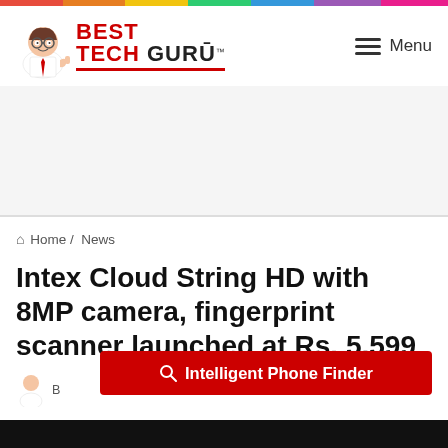[Figure (logo): Best Tech Guru logo with cartoon mascot character and red text]
Menu
[Figure (other): Advertisement placeholder area]
🏠 Home /  News
Intex Cloud String HD with 8MP camera, fingerprint scanner launched at Rs. 5,599
[Figure (other): Red Intelligent Phone Finder button with search icon]
[Figure (photo): Bottom strip showing phone images]